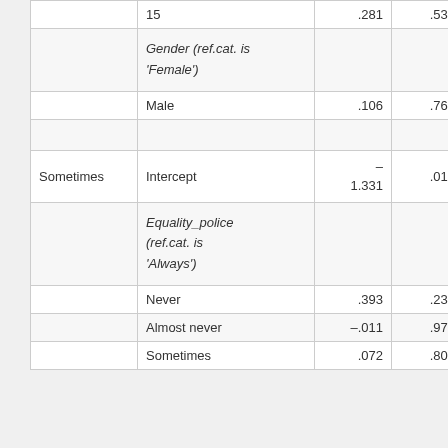|  |  | B | Sig. | Exp(B) |  |
| --- | --- | --- | --- | --- | --- |
|  | 15 | .281 | .535 | 1.324 | .54 |
|  | Gender (ref.cat. is 'Female') |  |  |  |  |
|  | Male | .106 | .760 | 1.111 | .56 |
|  |  |  |  |  |  |
| Sometimes | Intercept | –1.331 | .010 |  |  |
|  | Equality_police (ref.cat. is 'Always') |  |  |  |  |
|  | Never | .393 | .236 | 1.481 | .77 |
|  | Almost never | –.011 | .970 | .989 | .54 |
|  | Sometimes | .072 | .807 | .930 | .51 |